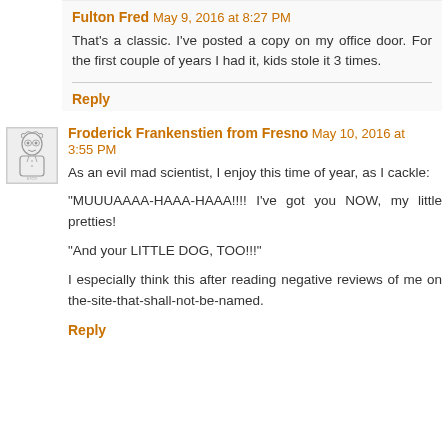Fulton Fred May 9, 2016 at 8:27 PM
That's a classic. I've posted a copy on my office door. For the first couple of years I had it, kids stole it 3 times.
Reply
[Figure (illustration): Small avatar image of a cartoon/sketch character]
Froderick Frankenstien from Fresno May 10, 2016 at 3:55 PM
As an evil mad scientist, I enjoy this time of year, as I cackle:
"MUUUAAAA-HAAA-HAAA!!!!  I've got you NOW, my little pretties!
"And your LITTLE DOG, TOO!!!"
I especially think this after reading negative reviews of me on the-site-that-shall-not-be-named.
Reply